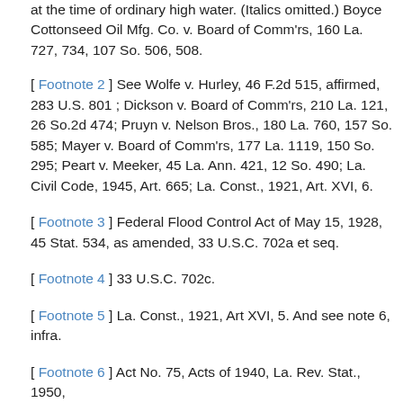at the time of ordinary high water. (Italics omitted.) Boyce Cottonseed Oil Mfg. Co. v. Board of Comm'rs, 160 La. 727, 734, 107 So. 506, 508.
[ Footnote 2 ] See Wolfe v. Hurley, 46 F.2d 515, affirmed, 283 U.S. 801 ; Dickson v. Board of Comm'rs, 210 La. 121, 26 So.2d 474; Pruyn v. Nelson Bros., 180 La. 760, 157 So. 585; Mayer v. Board of Comm'rs, 177 La. 1119, 150 So. 295; Peart v. Meeker, 45 La. Ann. 421, 12 So. 490; La. Civil Code, 1945, Art. 665; La. Const., 1921, Art. XVI, 6.
[ Footnote 3 ] Federal Flood Control Act of May 15, 1928, 45 Stat. 534, as amended, 33 U.S.C. 702a et seq.
[ Footnote 4 ] 33 U.S.C. 702c.
[ Footnote 5 ] La. Const., 1921, Art XVI, 5. And see note 6, infra.
[ Footnote 6 ] Act No. 75, Acts of 1940, La. Rev. Stat., 1950,